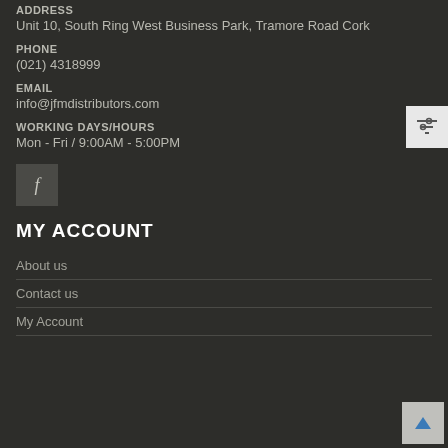ADDRESS
Unit 10, South Ring West Business Park, Tramore Road Cork
PHONE
(021) 4318999
EMAIL
info@jfmdistributors.com
WORKING DAYS/HOURS
Mon - Fri / 9:00AM - 5:00PM
[Figure (other): Facebook social media icon button]
MY ACCOUNT
About us
Contact us
My Account